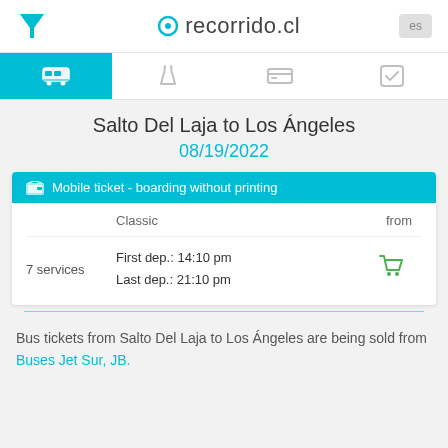recorrido.cl
Salto Del Laja to Los Ángeles
08/19/2022
Mobile ticket - boarding without printing
|  | Classic | from |
| --- | --- | --- |
| 7 services | First dep.: 14:10 pm
Last dep.: 21:10 pm |  |
Bus tickets from Salto Del Laja to Los Ángeles are being sold from Buses Jet Sur, JB.